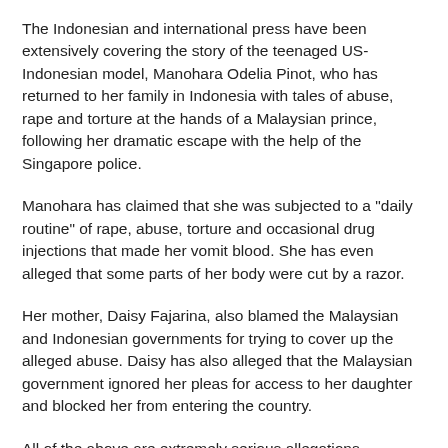The Indonesian and international press have been extensively covering the story of the teenaged US-Indonesian model, Manohara Odelia Pinot, who has returned to her family in Indonesia with tales of abuse, rape and torture at the hands of a Malaysian prince, following her dramatic escape with the help of the Singapore police.
Manohara has claimed that she was subjected to a "daily routine" of rape, abuse, torture and occasional drug injections that made her vomit blood. She has even alleged that some parts of her body were cut by a razor.
Her mother, Daisy Fajarina, also blamed the Malaysian and Indonesian governments for trying to cover up the alleged abuse. Daisy has also alleged that the Malaysian government ignored her pleas for access to her daughter and blocked her from entering the country.
All of the above are extremely serious allegations, regardless of whether they were made by a local or a foreigner. However, we are even more shocked by the remarks given by Deputy Prime Minister Tan Sri Muhyiddin Yassin whon